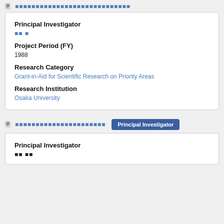[document icon] [Japanese text link]
Principal Investigator
[Japanese name]
Project Period (FY)
1988
Research Category
Grant-in-Aid for Scientific Research on Priority Areas
Research Institution
Osaka University
[document icon] [Japanese text link]   Principal Investigator [badge]
Principal Investigator
[Japanese name]